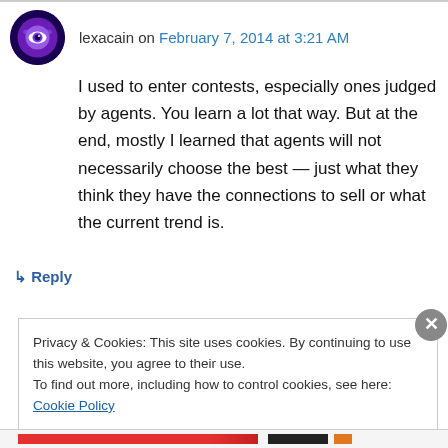[Figure (illustration): Round avatar icon with purple eye graphic on dark background]
lexacain on February 7, 2014 at 3:21 AM
I used to enter contests, especially ones judged by agents. You learn a lot that way. But at the end, mostly I learned that agents will not necessarily choose the best — just what they think they have the connections to sell or what the current trend is.
↳ Reply
Privacy & Cookies: This site uses cookies. By continuing to use this website, you agree to their use.
To find out more, including how to control cookies, see here: Cookie Policy
Close and accept